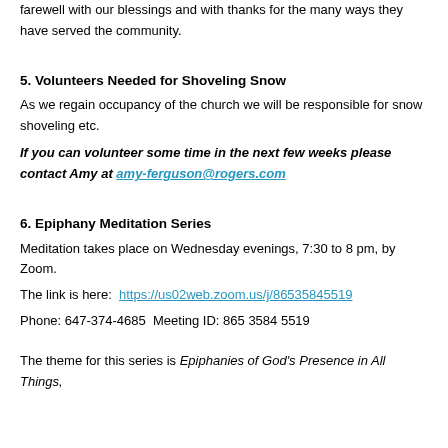farewell with our blessings and with thanks for the many ways they have served the community.
5. Volunteers Needed for Shoveling Snow
As we regain occupancy of the church we will be responsible for snow shoveling etc.
If you can volunteer some time in the next few weeks please contact Amy at amy-ferguson@rogers.com
6. Epiphany Meditation Series
Meditation takes place on Wednesday evenings, 7:30 to 8 pm, by Zoom.
The link is here:  https://us02web.zoom.us/j/86535845519
Phone: 647-374-4685  Meeting ID: 865 3584 5519
The theme for this series is Epiphanies of God's Presence in All Things,